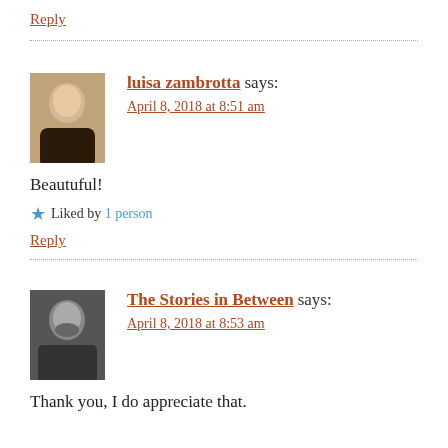Reply
luisa zambrotta says: April 8, 2018 at 8:51 am
Beautuful!
Liked by 1 person
Reply
The Stories in Between says: April 8, 2018 at 8:53 am
Thank you, I do appreciate that.